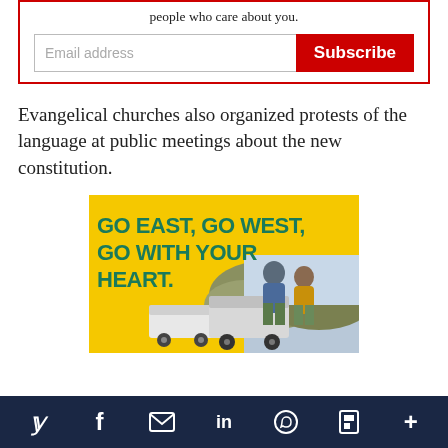people who care about you.
Email address  Subscribe
Evangelical churches also organized protests of the language at public meetings about the new constitution.
[Figure (illustration): Advertisement image showing two people looking at RVs/trailers in a desert landscape with yellow background and text: GO EAST, GO WEST, GO WITH YOUR HEART.]
Twitter | Facebook | Email | LinkedIn | WhatsApp | Flipboard | More